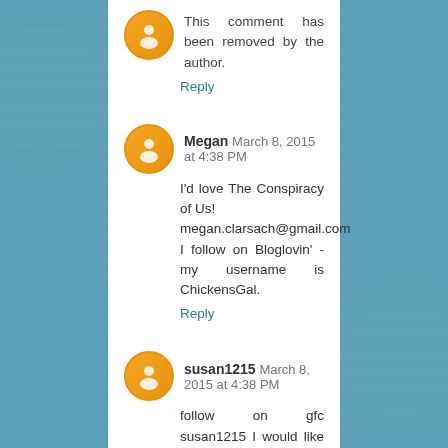This comment has been removed by the author.
Reply
Megan  March 8, 2015 at 4:38 PM
I'd love The Conspiracy of Us! megan.clarsach@gmail.com I follow on Bloglovin' - my username is ChickensGal.
Reply
susan1215  March 8, 2015 at 4:38 PM
follow on gfc susan1215 I would like the gift card.
s2s2 at cox dot net
Reply